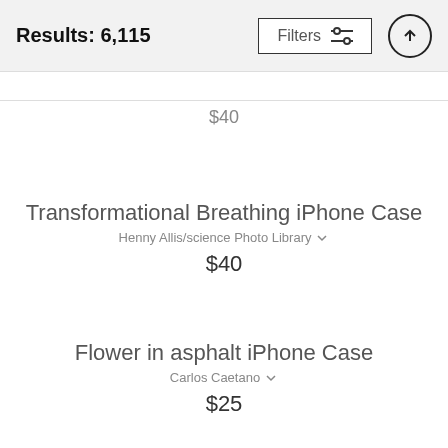Results: 6,115
$40
Transformational Breathing iPhone Case
Henny Allis/science Photo Library
$40
Flower in asphalt iPhone Case
Carlos Caetano
$25